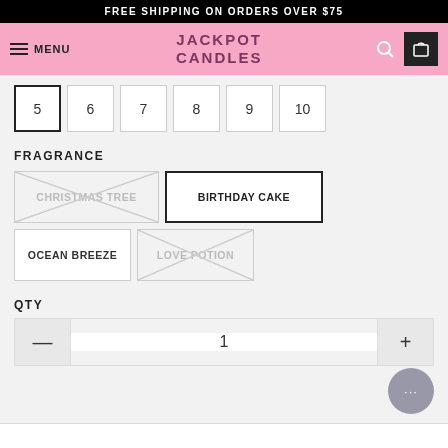FREE SHIPPING ON ORDERS OVER $75
MENU | JACKPOT CANDLES
5  6  7  8  9  10
FRAGRANCE
CHRISTMAS TREE (crossed out)  BIRTHDAY CAKE (selected)  OCEAN BREEZE  LOVE POTION (crossed out)
QTY
— 1 +